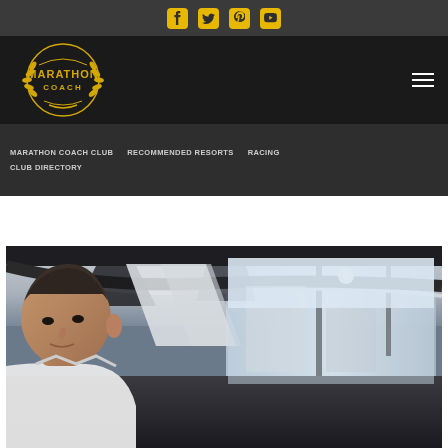Social media icons bar: Facebook, Twitter, Pinterest, YouTube
[Figure (logo): Marathon Coach logo - circular gold laurel wreath with MARATHON COACH text on dark background, with hamburger menu icon on right]
Navigation: MARATHON COACH CLUB | RECOMMENDED RESORTS | RACING | CLUB DIRECTORY
[Figure (photo): Interior of a luxury coach/bus with a man in foreground, large windows, curved ceiling with recessed lighting]